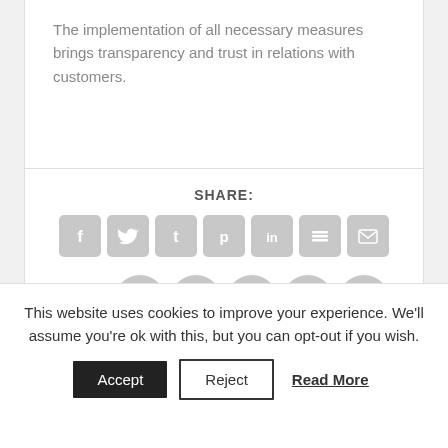The implementation of all necessary measures brings transparency and trust in relations with customers.
SHARE:
[Figure (infographic): Row of 7 social share icon buttons: Facebook (f), Twitter (bird), Tumblr (t), Pinterest (p), LinkedIn (in), Buffer (layers), Email (envelope) — all grey rounded squares]
RATE:
[Figure (infographic): 5 grey circular star rating buttons]
This website uses cookies to improve your experience. We'll assume you're ok with this, but you can opt-out if you wish.
Accept   Reject   Read More